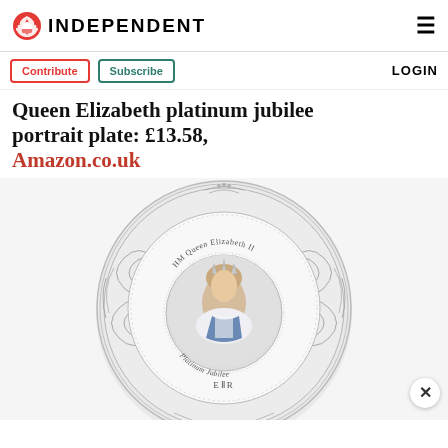INDEPENDENT
Contribute | Subscribe | LOGIN
Queen Elizabeth platinum jubilee portrait plate: £13.58, Amazon.co.uk
[Figure (photo): A decorative silver portrait plate featuring HM Queen Elizabeth II, inscribed with 1952-2022, Platinum Jubilee, and E II R, with ornate floral border design and a central color portrait of the Queen.]